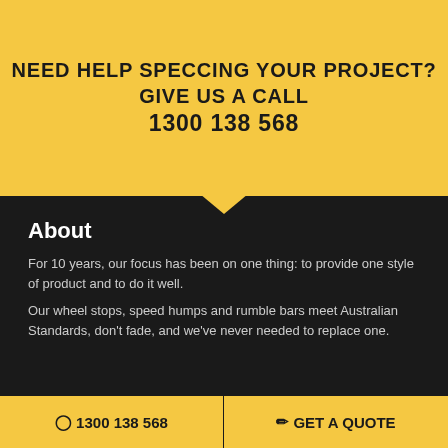NEED HELP SPECCING YOUR PROJECT? GIVE US A CALL 1300 138 568
About
For 10 years, our focus has been on one thing: to provide one style of product and to do it well.
Our wheel stops, speed humps and rumble bars meet Australian Standards, don't fade, and we've never needed to replace one.
Menu
Products
Home
FAQ
Rumble Bars
Speed Humps
1300 138 568   GET A QUOTE